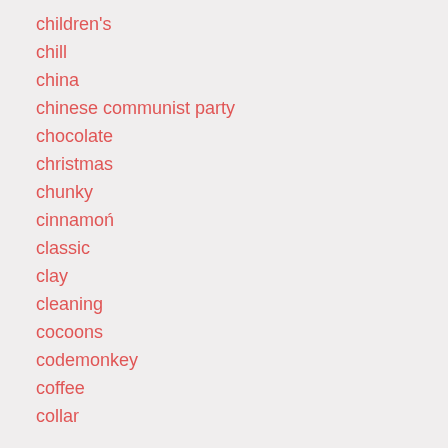children's
chill
china
chinese communist party
chocolate
christmas
chunky
cinnamon
classic
clay
cleaning
cocoons
codemonkey
coffee
collar